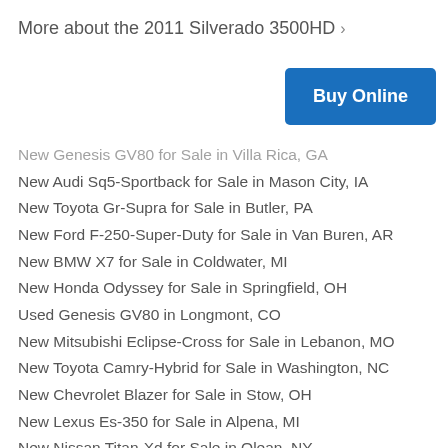More about the 2011 Silverado 3500HD >
Buy Online
New Genesis GV80 for Sale in Villa Rica, GA
New Audi Sq5-Sportback for Sale in Mason City, IA
New Toyota Gr-Supra for Sale in Butler, PA
New Ford F-250-Super-Duty for Sale in Van Buren, AR
New BMW X7 for Sale in Coldwater, MI
New Honda Odyssey for Sale in Springfield, OH
Used Genesis GV80 in Longmont, CO
New Mitsubishi Eclipse-Cross for Sale in Lebanon, MO
New Toyota Camry-Hybrid for Sale in Washington, NC
New Chevrolet Blazer for Sale in Stow, OH
New Lexus Es-350 for Sale in Alpena, MI
New Nissan Titan-Xd for Sale in Olean, NY
New Audi Q7 for Sale in Meridian, MS
New Alfa-Romeo Stelvio for Sale in Wheeling, WV
New Porsche Panamera for Sale in Brandon, MS